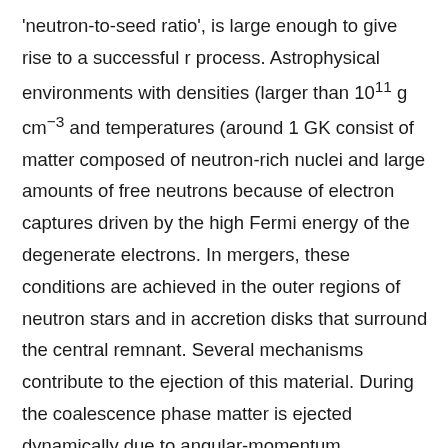'neutron-to-seed ratio', is large enough to give rise to a successful r process. Astrophysical environments with densities (larger than 10^11 g cm^-3 and temperatures (around 1 GK consist of matter composed of neutron-rich nuclei and large amounts of free neutrons because of electron captures driven by the high Fermi energy of the degenerate electrons. In mergers, these conditions are achieved in the outer regions of neutron stars and in accretion disks that surround the central remnant. Several mechanisms contribute to the ejection of this material. During the coalescence phase matter is ejected dynamically due to angular-momentum conservation on timescales of milliseconds (see Fig. 2). Additional material is ejected on longer timescales of several hundreds of